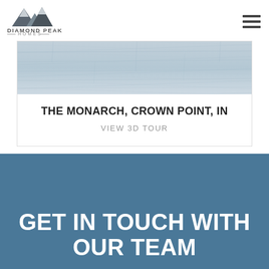[Figure (logo): Diamond Peak Homes logo with mountain peak icon above text]
[Figure (photo): Close-up photo of light grey/blue toned hardwood floor planks]
THE MONARCH, CROWN POINT, IN
VIEW 3D TOUR
GET IN TOUCH WITH OUR TEAM